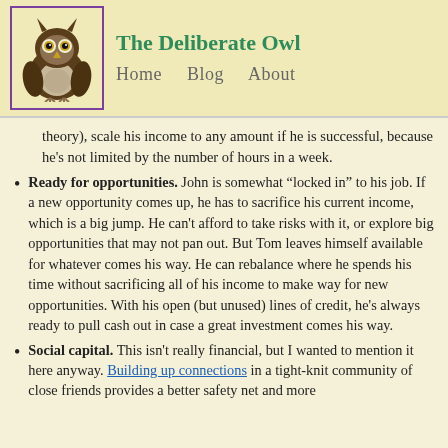The Deliberate Owl | Home Blog About
theory), scale his income to any amount if he is successful, because he's not limited by the number of hours in a week.
Ready for opportunities. John is somewhat “locked in” to his job. If a new opportunity comes up, he has to sacrifice his current income, which is a big jump. He can't afford to take risks with it, or explore big opportunities that may not pan out. But Tom leaves himself available for whatever comes his way. He can rebalance where he spends his time without sacrificing all of his income to make way for new opportunities. With his open (but unused) lines of credit, he's always ready to pull cash out in case a great investment comes his way.
Social capital. This isn't really financial, but I wanted to mention it here anyway. Building up connections in a tight-knit community of close friends provides a better safety net and more